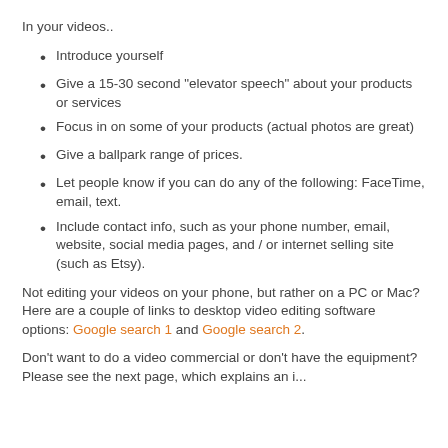In your videos..
Introduce yourself
Give a 15-30 second "elevator speech" about your products or services
Focus in on some of your products (actual photos are great)
Give a ballpark range of prices.
Let people know if you can do any of the following: FaceTime, email, text.
Include contact info, such as your phone number, email, website, social media pages, and / or internet selling site (such as Etsy).
Not editing your videos on your phone, but rather on a PC or Mac? Here are a couple of links to desktop video editing software options: Google search 1 and Google search 2.
Don't want to do a video commercial or don't have the equipment? Please see the next page, which explains an i...